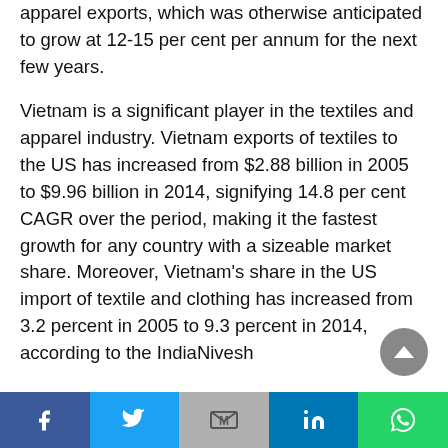apparel exports, which was otherwise anticipated to grow at 12-15 per cent per annum for the next few years.
Vietnam is a significant player in the textiles and apparel industry. Vietnam exports of textiles to the US has increased from $2.88 billion in 2005 to $9.96 billion in 2014, signifying 14.8 per cent CAGR over the period, making it the fastest growth for any country with a sizeable market share. Moreover, Vietnam's share in the US import of textile and clothing has increased from 3.2 percent in 2005 to 9.3 percent in 2014, according to the IndiaNivesh
Social share bar: Facebook, Twitter, Gmail, LinkedIn, WhatsApp